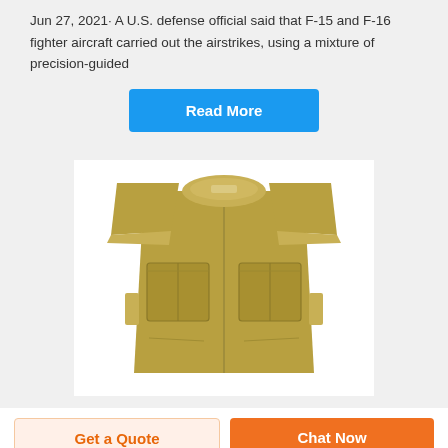Jun 27, 2021· A U.S. defense official said that F-15 and F-16 fighter aircraft carried out the airstrikes, using a mixture of precision-guided
Read More
[Figure (photo): A tan/olive colored tactical body armor vest shown from the front, with shoulder pads, chest pockets, and side straps, on a white background.]
Get a Quote
Chat Now